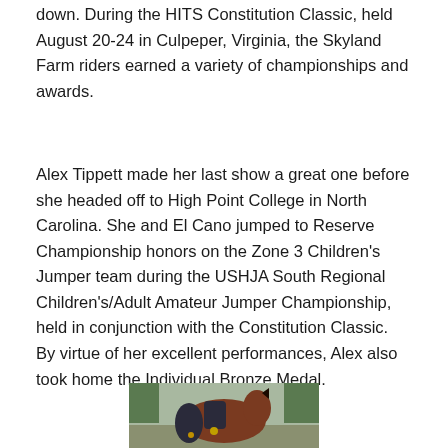down. During the HITS Constitution Classic, held August 20-24 in Culpeper, Virginia, the Skyland Farm riders earned a variety of championships and awards.
Alex Tippett made her last show a great one before she headed off to High Point College in North Carolina. She and El Cano jumped to Reserve Championship honors on the Zone 3 Children's Jumper team during the USHJA South Regional Children's/Adult Amateur Jumper Championship, held in conjunction with the Constitution Classic. By virtue of her excellent performances, Alex also took home the Individual Bronze Medal.
[Figure (photo): A rider in equestrian attire with a horse and another person posing outdoors at a horse show]